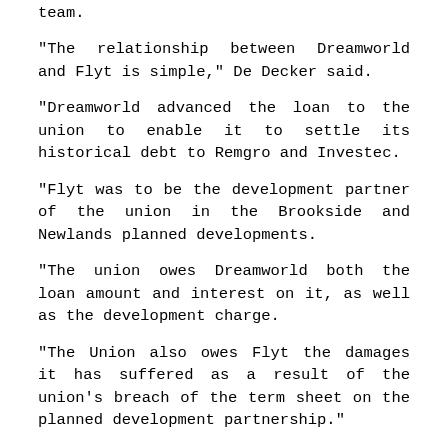team.
“The relationship between Dreamworld and Flyt is simple,” De Decker said.
“Dreamworld advanced the loan to the union to enable it to settle its historical debt to Remgro and Investec.
“Flyt was to be the development partner of the union in the Brookside and Newlands planned developments.
“The union owes Dreamworld both the loan amount and interest on it, as well as the development charge.
“The Union also owes Flyt the damages it has suffered as a result of the union’s breach of the term sheet on the planned development partnership.”
He added they are still in the “early stages” of exchanging papers, before getting a court date and that Flyt has not yet filed any court papers.
De Decker also addressed another issue that was mentioned in